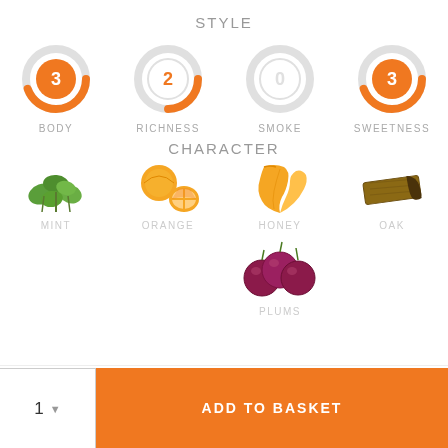STYLE
[Figure (infographic): Four donut-style gauge charts showing BODY=3, RICHNESS=2, SMOKE=0, SWEETNESS=3 with orange fill on gray ring]
CHARACTER
[Figure (infographic): Five flavor character icons: MINT (green herb), ORANGE (citrus slice), HONEY (honey drizzle), OAK (wood piece), PLUMS (dark plums)]
ADD TO BASKET